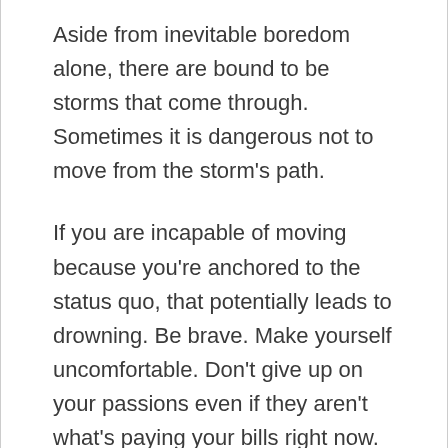Aside from inevitable boredom alone, there are bound to be storms that come through. Sometimes it is dangerous not to move from the storm's path.
If you are incapable of moving because you're anchored to the status quo, that potentially leads to drowning. Be brave. Make yourself uncomfortable. Don't give up on your passions even if they aren't what's paying your bills right now. Have hard conversations. Be the change. Pull up your anchor and sail somewhere new! THAT is how you grow.